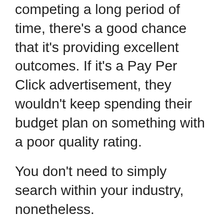competing a long period of time, there's a good chance that it's providing excellent outcomes. If it's a Pay Per Click advertisement, they wouldn't keep spending their budget plan on something with a poor quality rating.
You don't need to simply search within your industry, nonetheless.
You can additionally take a look at what online marketers in other industries are doing, as well. If you do so, you may discover particular phrases that function well at obtaining interest and also motivating action.
It is necessary that the keyword/topic within the headline of your advertisement likewise matches the page that individuals will be required to,